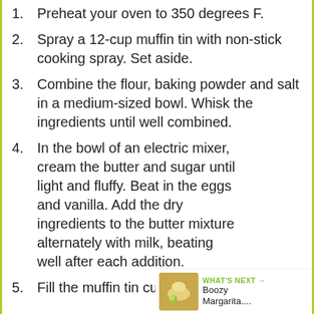1. Preheat your oven to 350 degrees F.
2. Spray a 12-cup muffin tin with non-stick cooking spray. Set aside.
3. Combine the flour, baking powder and salt in a medium-sized bowl. Whisk the ingredients until well combined.
4. In the bowl of an electric mixer, cream the butter and sugar until light and fluffy. Beat in the eggs and vanilla. Add the dry ingredients to the butter mixture alternately with milk, beating well after each addition.
5. Fill the muffin tin cups 2/3 full. Bake